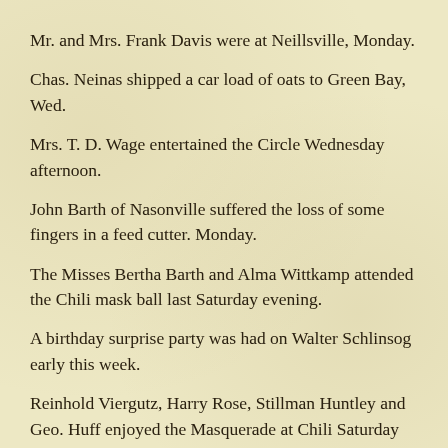Mr. and Mrs. Frank Davis were at Neillsville, Monday.
Chas. Neinas shipped a car load of oats to Green Bay, Wed.
Mrs. T. D. Wage entertained the Circle Wednesday afternoon.
John Barth of Nasonville suffered the loss of some fingers in a feed cutter. Monday.
The Misses Bertha Barth and Alma Wittkamp attended the Chili mask ball last Saturday evening.
A birthday surprise party was had on Walter Schlinsog early this week.
Reinhold Viergutz, Harry Rose, Stillman Huntley and Geo. Huff enjoyed the Masquerade at Chili Saturday night.
Miss Clara Haenchen after a visit at